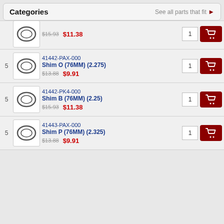Categories  See all parts that fit ▶
5  41442-PAX-000  Shim O (76MM) (2.275)  $13.88  $9.91  1
5  41442-PK4-000  Shim B (76MM) (2.25)  $15.93  $11.38  1
5  41443-PAX-000  Shim P (76MM) (2.325)  $13.88  $9.91  1